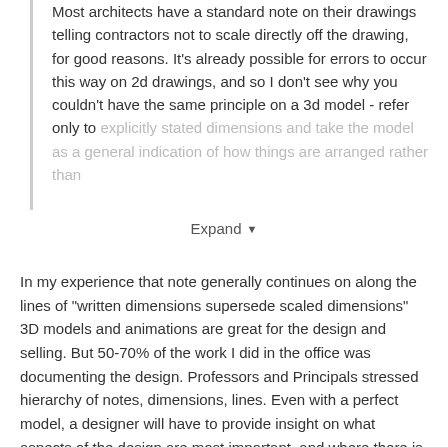Most architects have a standard note on their drawings telling contractors not to scale directly off the drawing, for good reasons. It's already possible for errors to occur this way on 2d drawings, and so I don't see why you couldn't have the same principle on a 3d model - refer only to explicitly stated dimensions and take the model as a general indication of how things are arranged rather than
Expand
In my experience that note generally continues on along the lines of "written dimensions supersede scaled dimensions" 3D models and animations are great for the design and selling. But 50-70% of the work I did in the office was documenting the design. Professors and Principals stressed hierarchy of notes, dimensions, lines. Even with a perfect model, a designer will have to provide insight on what aspects of the design are most important, and where there is flexibility to absorb the imperfections of the real world and construction processes.